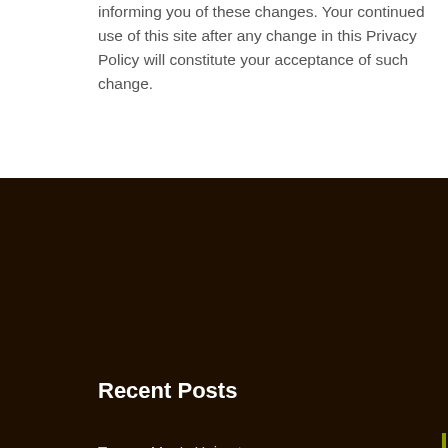informing you of these changes. Your continued use of this site after any change in this Privacy Policy will constitute your acceptance of such change.
Recent Posts
Tucson Men's Haircut
Tucson Barbershop Near Me
Tucson Best Straight Razor Shave
How to Become a Barber in Arizona
How to Master the Beard
Hours